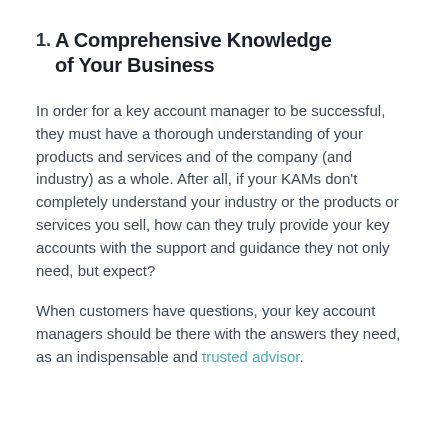1. A Comprehensive Knowledge of Your Business
In order for a key account manager to be successful, they must have a thorough understanding of your products and services and of the company (and industry) as a whole. After all, if your KAMs don't completely understand your industry or the products or services you sell, how can they truly provide your key accounts with the support and guidance they not only need, but expect?
When customers have questions, your key account managers should be there with the answers they need, as an indispensable and trusted advisor.